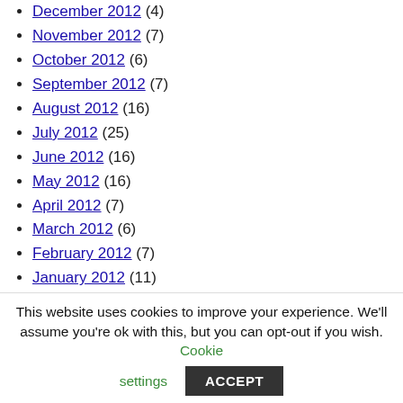December 2012 (4)
November 2012 (7)
October 2012 (6)
September 2012 (7)
August 2012 (16)
July 2012 (25)
June 2012 (16)
May 2012 (16)
April 2012 (7)
March 2012 (6)
February 2012 (7)
January 2012 (11)
December 2011 (7)
November 2011 (2)
October 2011 (10)
September 2011 (19)
August 2011 (25)
July 2011 (27)
June 2011 (21)
This website uses cookies to improve your experience. We'll assume you're ok with this, but you can opt-out if you wish. Cookie settings ACCEPT